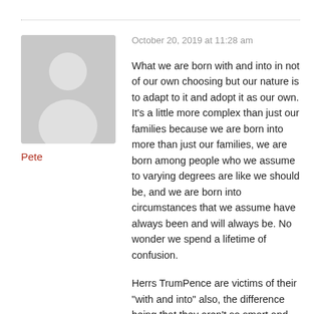October 20, 2019 at 11:28 am
[Figure (illustration): Gray placeholder avatar silhouette of a person, square with rounded corners]
Pete
What we are born with and into in not of our own choosing but our nature is to adapt to it and adopt it as our own. It’s a little more complex than just our families because we are born into more than just our families, we are born among people who we assume to varying degrees are like we should be, and we are born into circumstances that we assume have always been and will always be. No wonder we spend a lifetime of confusion.
Herrs TrumPence are victims of their “with and into” also, the difference being that they aren’t so smart and never questioned anything. Now the plot has enveloped all of